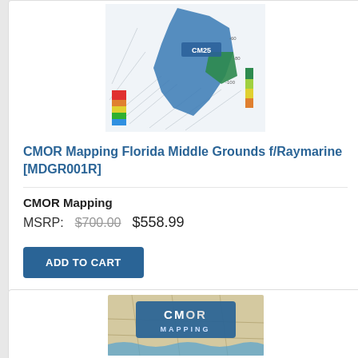[Figure (map): Nautical bathymetric map showing CMOR Mapping Florida Middle Grounds with depth contours and color-coded depth areas]
CMOR Mapping Florida Middle Grounds f/Raymarine [MDGR001R]
CMOR Mapping
MSRP: $700.00  $558.99
ADD TO CART
[Figure (logo): CMOR Mapping logo with map background]